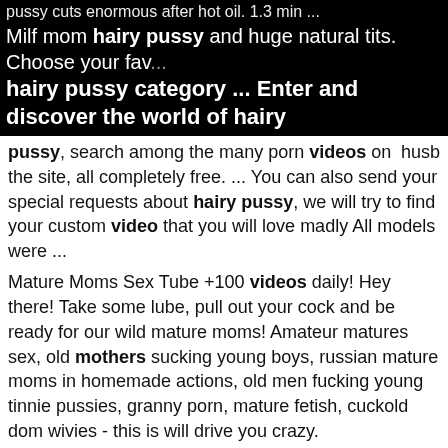pussy cuts enormous after hot oil. 1.3 min ... Milf mom hairy pussy and huge natural tits. Choose your favorite hairy pussy category ... Enter and discover the world of hairy
pussy, search among the many porn videos on the site, all completely free. ... You can also send your special requests about hairy pussy, we will try to find your custom video that you will love madly All models were ...
Mature Moms Sex Tube +100 videos daily! Hey there! Take some lube, pull out your cock and be ready for our wild mature moms! Amateur matures sex, old mothers sucking young boys, russian mature moms in homemade actions, old men fucking young tinnie pussies, granny porn, mature fetish, cuckold dom wivies - this is will drive you crazy.
She pisses, fucks anal and hairy pussy, shakes saggy tits. Fetish. 1.2M 100% 35min - 1080p. Fantasy Massage Official. Teen sucks daddy while mom. The 57-year-old actress poses completely naked in a new photoshoot for Harper's Bazaar, and it's safe to say she looks incredible. "I'm aware that my ass looks like a. EOF. Naked 50 year old women ...